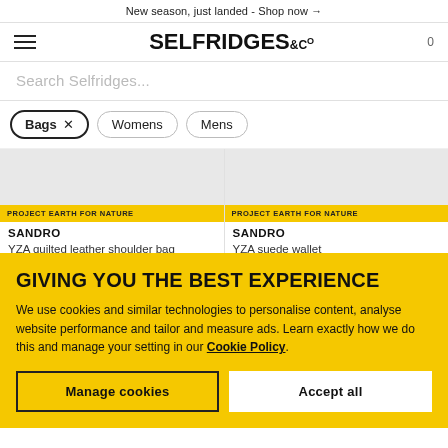New season, just landed - Shop now →
[Figure (logo): Selfridges & Co logo with hamburger menu and cart icon 0]
Search Selfridges...
Bags ×
Womens
Mens
PROJECT EARTH FOR NATURE
SANDRO
YZA quilted leather shoulder bag
PROJECT EARTH FOR NATURE
SANDRO
YZA suede wallet
GIVING YOU THE BEST EXPERIENCE
We use cookies and similar technologies to personalise content, analyse website performance and tailor and measure ads. Learn exactly how we do this and manage your setting in our Cookie Policy.
Manage cookies
Accept all